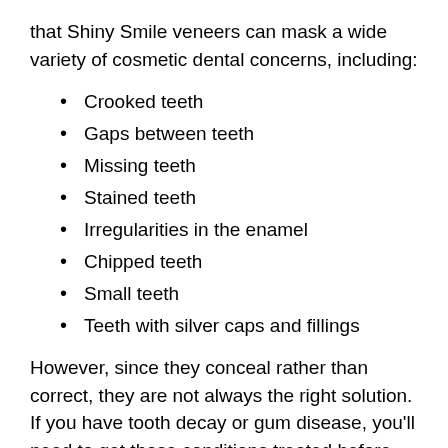that Shiny Smile veneers can mask a wide variety of cosmetic dental concerns, including:
Crooked teeth
Gaps between teeth
Missing teeth
Stained teeth
Irregularities in the enamel
Chipped teeth
Small teeth
Teeth with silver caps and fillings
However, since they conceal rather than correct, they are not always the right solution. If you have tooth decay or gum disease, you'll need to get those conditions treated before you purchase snap-on veneers. Additionally, fixed appliances like